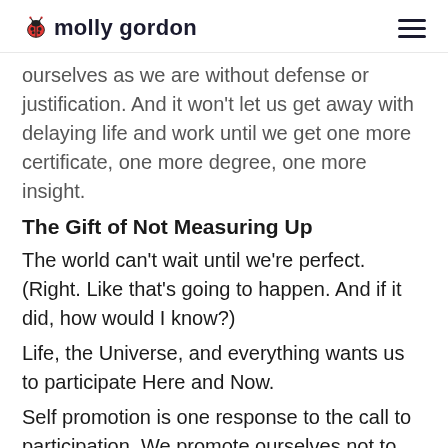molly gordon
ourselves as we are without defense or justification. And it won't let us get away with delaying life and work until we get one more certificate, one more degree, one more insight.
The Gift of Not Measuring Up
The world can't wait until we're perfect. (Right. Like that's going to happen. And if it did, how would I know?)
Life, the Universe, and everything wants us to participate Here and Now.
Self promotion is one response to the call to participation. We promote ourselves not to compete against or exceed others, but to join